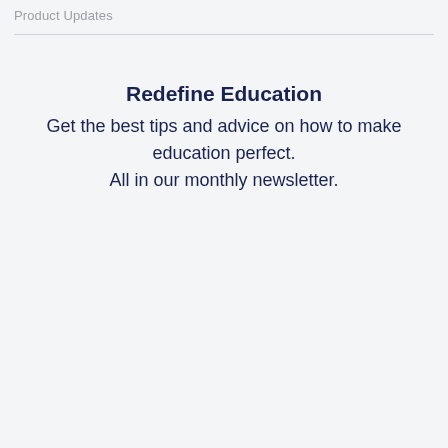Product Updates
Redefine Education
Get the best tips and advice on how to make education perfect. All in our monthly newsletter.